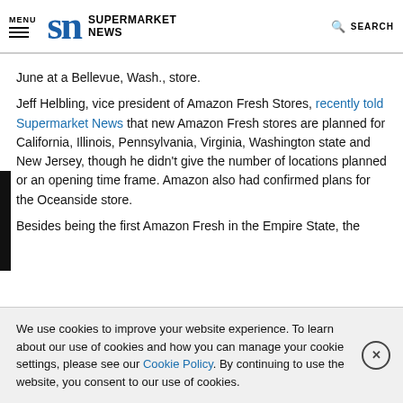MENU | SN SUPERMARKET NEWS | SEARCH
June at a Bellevue, Wash., store.
Jeff Helbling, vice president of Amazon Fresh Stores, recently told Supermarket News that new Amazon Fresh stores are planned for California, Illinois, Pennsylvania, Virginia, Washington state and New Jersey, though he didn't give the number of locations planned or an opening time frame. Amazon also had confirmed plans for the Oceanside store.
Besides being the first Amazon Fresh in the Empire State, the
We use cookies to improve your website experience. To learn about our use of cookies and how you can manage your cookie settings, please see our Cookie Policy. By continuing to use the website, you consent to our use of cookies.